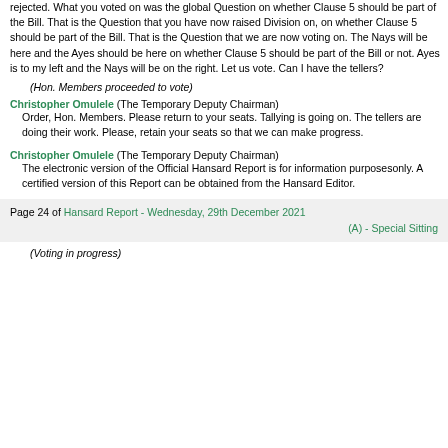rejected. What you voted on was the global Question on whether Clause 5 should be part of the Bill. That is the Question that you have now raised Division on, on whether Clause 5 should be part of the Bill. That is the Question that we are now voting on. The Nays will be here and the Ayes should be here on whether Clause 5 should be part of the Bill or not. Ayes is to my left and the Nays will be on the right. Let us vote. Can I have the tellers?
(Hon. Members proceeded to vote)
Christopher Omulele (The Temporary Deputy Chairman) Order, Hon. Members. Please return to your seats. Tallying is going on. The tellers are doing their work. Please, retain your seats so that we can make progress.
Christopher Omulele (The Temporary Deputy Chairman) The electronic version of the Official Hansard Report is for information purposesonly. A certified version of this Report can be obtained from the Hansard Editor.
Page 24 of Hansard Report - Wednesday, 29th December 2021 (A) - Special Sitting
(Voting in progress)